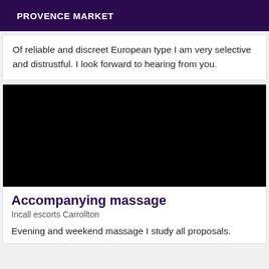PROVENCE MARKET
Of reliable and discreet European type I am very selective and distrustful. I look forward to hearing from you.
[Figure (photo): Large black image placeholder]
Accompanying massage
Incall escorts Carrollton
Evening and weekend massage I study all proposals.